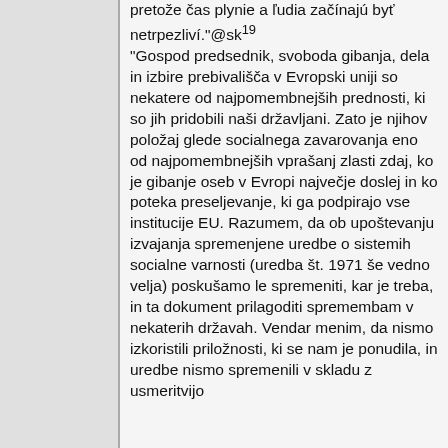pretože čas plynie a ľudia začínajú byť netrpezliví."@sk¹⁹ "Gospod predsednik, svoboda gibanja, dela in izbire prebivališča v Evropski uniji so nekatere od najpomembnejših prednosti, ki so jih pridobili naši državljani. Zato je njihov položaj glede socialnega zavarovanja eno od najpomembnejših vprašanj zlasti zdaj, ko je gibanje oseb v Evropi največje doslej in ko poteka preseljevanje, ki ga podpirajo vse institucije EU. Razumem, da ob upoštevanju izvajanja spremenjene uredbe o sistemih socialne varnosti (uredba št. 1971 še vedno velja) poskušamo le spremeniti, kar je treba, in ta dokument prilagoditi spremembam v nekaterih državah. Vendar menim, da nismo izkoristili priložnosti, ki se nam je ponudila, in uredbe nismo spremenili v skladu z usmeritvijo